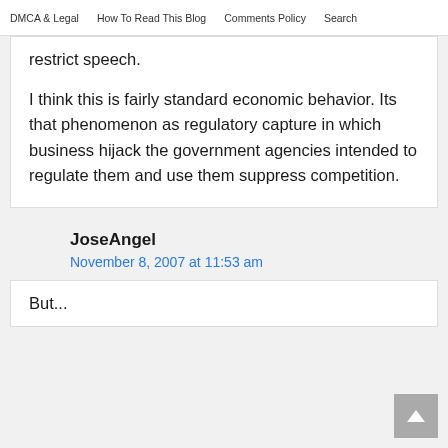DMCA & Legal   How To Read This Blog   Comments Policy   Search
restrict speech.
I think this is fairly standard economic behavior. Its that phenomenon as regulatory capture in which business hijack the government agencies intended to regulate them and use them suppress competition.
JoseAngel
November 8, 2007 at 11:53 am
But...